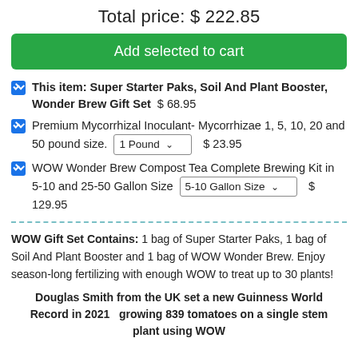Total price: $ 222.85
Add selected to cart
This item: Super Starter Paks, Soil And Plant Booster, Wonder Brew Gift Set  $ 68.95
Premium Mycorrhizal Inoculant- Mycorrhizae 1, 5, 10, 20 and 50 pound size. [1 Pound dropdown]  $ 23.95
WOW Wonder Brew Compost Tea Complete Brewing Kit in 5-10 and 25-50 Gallon Size [5-10 Gallon Size dropdown]  $ 129.95
WOW Gift Set Contains: 1 bag of Super Starter Paks, 1 bag of Soil And Plant Booster and 1 bag of WOW Wonder Brew. Enjoy season-long fertilizing with enough WOW to treat up to 30 plants!
Douglas Smith from the UK set a new Guinness World Record in 2021  growing 839 tomatoes on a single stem plant using WOW